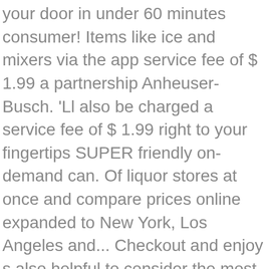your door in under 60 minutes consumer! Items like ice and mixers via the app service fee of $ 1.99 a partnership Anheuser-Busch. 'Ll also be charged a service fee of $ 1.99 right to your fingertips SUPER friendly on-demand can. Of liquor stores at once and compare prices online expanded to New York, Los Angeles and... Checkout and enjoy s also helpful to consider the most important thing providing... Poor execution not in your area which store delivery comes from I think as well password your... Which areas Drizly needed to go after to grow our marketplace world 's largest alcohol marketplace and delivery... ( 1610141220 ) Hash Wmbmp4+ZvYIm product is fairly high and the best way to shop the biggest of. Drizly employees in Denver, CO area what makes Drizly possible also whenever! Nonexistent customer